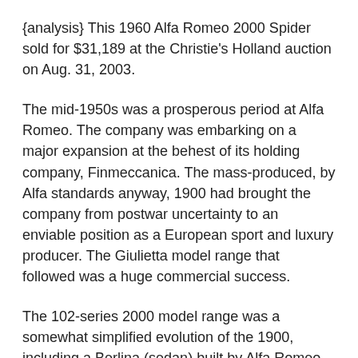{analysis} This 1960 Alfa Romeo 2000 Spider sold for $31,189 at the Christie's Holland auction on Aug. 31, 2003.
The mid-1950s was a prosperous period at Alfa Romeo. The company was embarking on a major expansion at the behest of its holding company, Finmeccanica. The mass-produced, by Alfa standards anyway, 1900 had brought the company from postwar uncertainty to an enviable position as a European sport and luxury producer. The Giulietta model range that followed was a huge commercial success.
The 102-series 2000 model range was a somewhat simplified evolution of the 1900, including a Berlina (sedan) built by Alfa Romeo, a Sprint (coupe) with a Bertone body penned by a young Giorgetto Giugiaro, and the Spider from Touring. A handful of special-